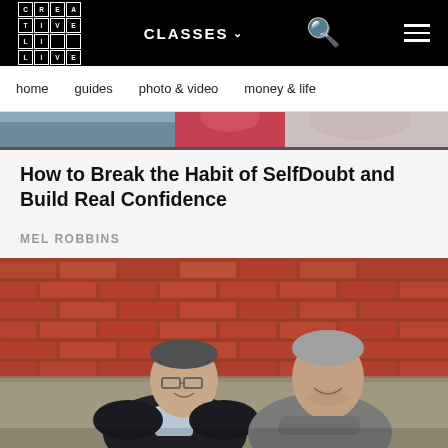CREATIVELIVE | CLASSES
home    guides    photo & video    money & life
[Figure (photo): Banner strip showing partial faces/heads of people in red and grey tones]
How to Break the Habit of SelfDoubt and Build Real Confidence
MEL ROBBINS
[Figure (photo): Two men smiling in front of a red brick wall. Left man wears glasses and black jacket. Right man has grey hair and wears a grey button-up shirt with arms crossed.]